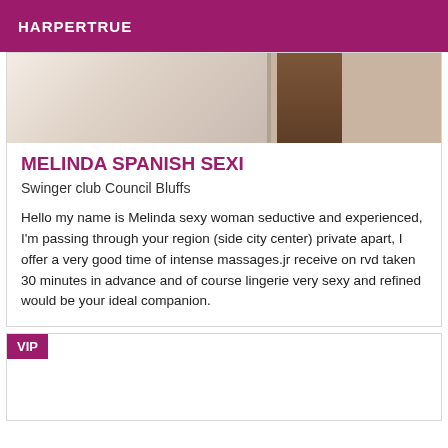HARPERTRUE
[Figure (photo): Partial photo showing fur/textile on left and a brown leg or post on the right against a light background]
MELINDA SPANISH SEXI
Swinger club Council Bluffs
Hello my name is Melinda sexy woman seductive and experienced, I'm passing through your region (side city center) private apart, I offer a very good time of intense massages.jr receive on rvd taken 30 minutes in advance and of course lingerie very sexy and refined would be your ideal companion.
VIP